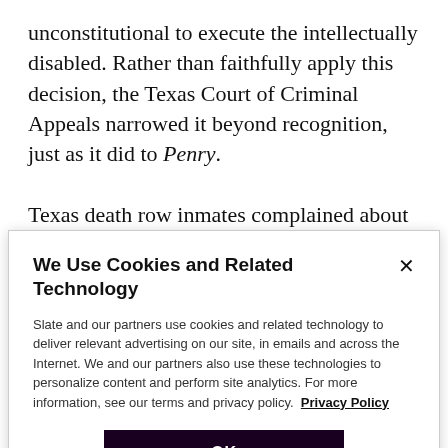unconstitutional to execute the intellectually disabled. Rather than faithfully apply this decision, the Texas Court of Criminal Appeals narrowed it beyond recognition, just as it did to Penry.

Texas death row inmates complained about this perversion of the law for years but the Supreme Court refused to intervene until 2017, when eight justices held in Moore v. Texas that the test applied by the lower
We Use Cookies and Related Technology
Slate and our partners use cookies and related technology to deliver relevant advertising on our site, in emails and across the Internet. We and our partners also use these technologies to personalize content and perform site analytics. For more information, see our terms and privacy policy. Privacy Policy